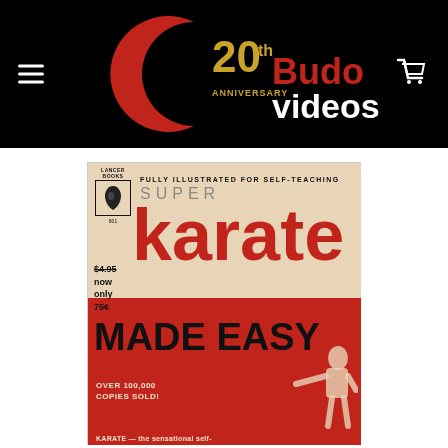[Figure (logo): Budo Videos 20th Anniversary logo on black background with hamburger menu and cart icon]
[Figure (photo): Book cover of 'Super Karate Made Easy' by Lancer Books #801. Fully illustrated for self-teaching. Price $4.95 crossed out, now only 75¢. Over 100,000 copies sold. Karate — the sensational self-...]